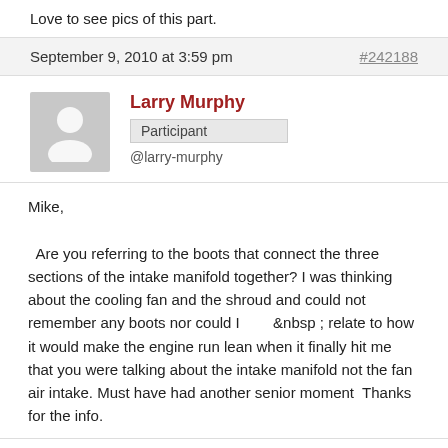Love to see pics of this part.
September 9, 2010 at 3:59 pm   #242188
Larry Murphy
Participant
@larry-murphy
Mike,

  Are you referring to the boots that connect the three sections of the intake manifold together? I was thinking about the cooling fan and the shroud and could not remember any boots nor could I      &nbsp ; relate to how it would make the engine run lean when it finally hit me that you were talking about the intake manifold not the fan air intake. Must have had another senior moment  Thanks for the info.